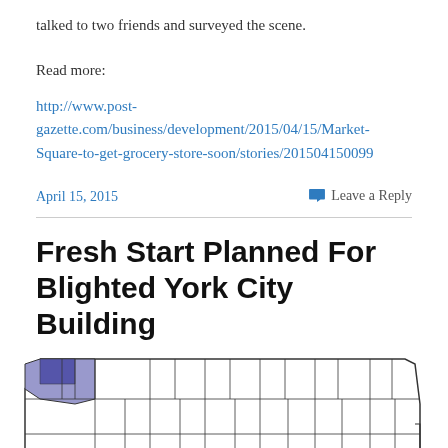talked to two friends and surveyed the scene.
Read more:
http://www.post-gazette.com/business/development/2015/04/15/Market-Square-to-get-grocery-store-soon/stories/201504150099
April 15, 2015
Leave a Reply
Fresh Start Planned For Blighted York City Building
[Figure (map): Map of Pennsylvania counties with the top-left county (likely Erie or a northwestern county) highlighted in blue/purple.]